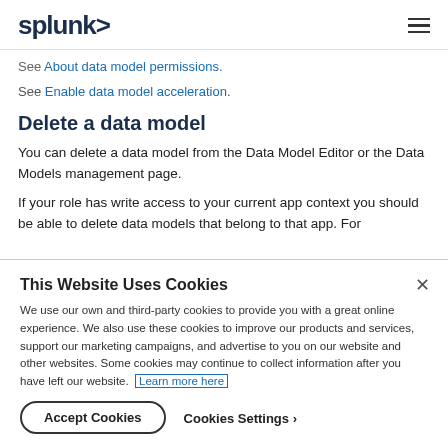splunk>
See About data model permissions.
See Enable data model acceleration.
Delete a data model
You can delete a data model from the Data Model Editor or the Data Models management page.
If your role has write access to your current app context you should be able to delete data models that belong to that app. For
This Website Uses Cookies
We use our own and third-party cookies to provide you with a great online experience. We also use these cookies to improve our products and services, support our marketing campaigns, and advertise to you on our website and other websites. Some cookies may continue to collect information after you have left our website. Learn more here
Accept Cookies
Cookies Settings ›